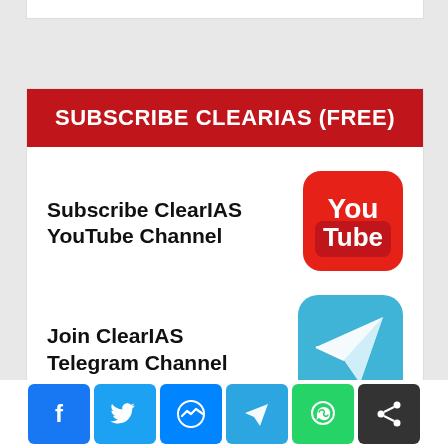SUBSCRIBE CLEARIAS (FREE)
Subscribe ClearIAS YouTube Channel
[Figure (logo): YouTube logo — red rounded square with white play button and 'You Tube' text]
Join ClearIAS Telegram Channel
[Figure (logo): Telegram logo — blue rounded square with white paper plane icon]
[Figure (infographic): Social share bar with Facebook, Twitter, Messenger, Telegram, WhatsApp, and Share buttons]